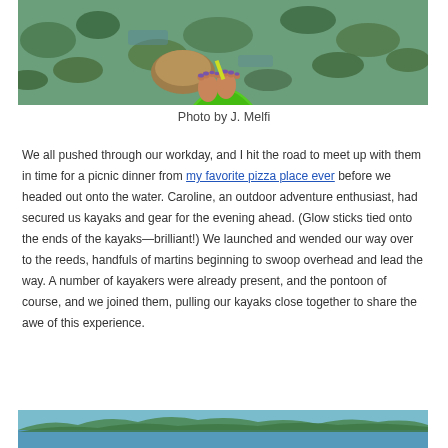[Figure (photo): View from inside a green kayak looking out over lily pads and water, with bare feet with purple toenail polish resting on the kayak bow]
Photo by J. Melfi
We all pushed through our workday, and I hit the road to meet up with them in time for a picnic dinner from my favorite pizza place ever before we headed out onto the water. Caroline, an outdoor adventure enthusiast, had secured us kayaks and gear for the evening ahead. (Glow sticks tied onto the ends of the kayaks—brilliant!) We launched and wended our way over to the reeds, handfuls of martins beginning to swoop overhead and lead the way. A number of kayakers were already present, and the pontoon of course, and we joined them, pulling our kayaks close together to share the awe of this experience.
[Figure (photo): Partial view of another outdoor water scene, bottom of page]